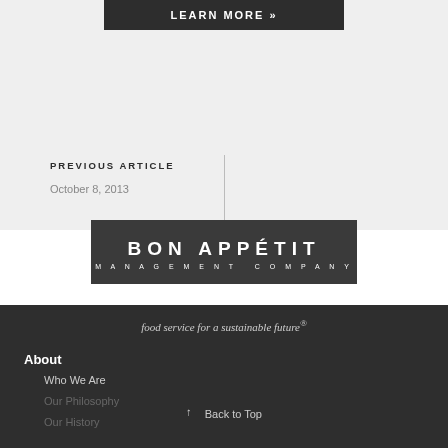[Figure (other): LEARN MORE button - dark background rectangular button with white text]
PREVIOUS ARTICLE
October 8, 2013
[Figure (logo): Bon Appetit Management Company logo - white text on dark background with tagline 'food service for a sustainable future']
food service for a sustainable future®
About
Who We Are
Our Philosophy
Our History
↑ Back to Top